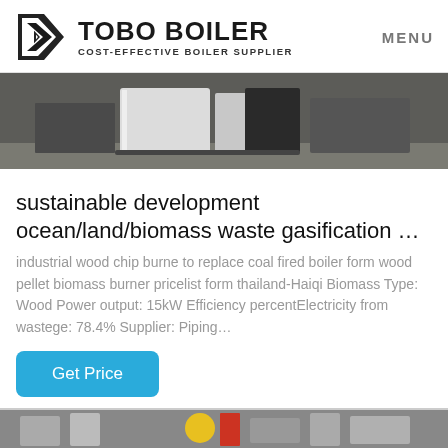TOBO BOILER COST-EFFECTIVE BOILER SUPPLIER | MENU
[Figure (photo): Industrial boiler unit photographed in a warehouse/industrial setting, showing white and dark metal casing on a concrete floor]
sustainable development ocean/land/biomass waste gasification …
industrial wood chip burne to replace coal fired boiler form wood pellet biomass burner pricelist form thailand-Haiqi Biomass Type: Wood Power output: 15kW Efficiency percentElectricity from wastege: 78.4% Supplier: Piping…
Get Price
[Figure (photo): Partial view of industrial equipment/boiler components at the bottom of the page]